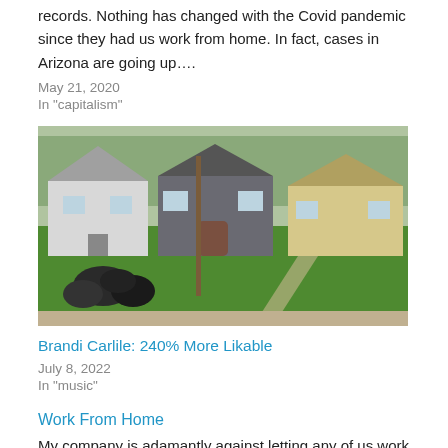records. Nothing has changed with the Covid pandemic since they had us work from home.  In fact, cases in Arizona are going up….
May 21, 2020
In "capitalism"
[Figure (photo): Street view of three houses with a green lawn in the foreground, a utility pole, and a pile of trash bags near the sidewalk. Trees visible in background.]
Brandi Carlile: 240% More Likable
July 8, 2022
In "music"
Work From Home
My company is adamantly against letting any of us work from home-- ever.  But this pandemic forced them to have to allow it.  Because we